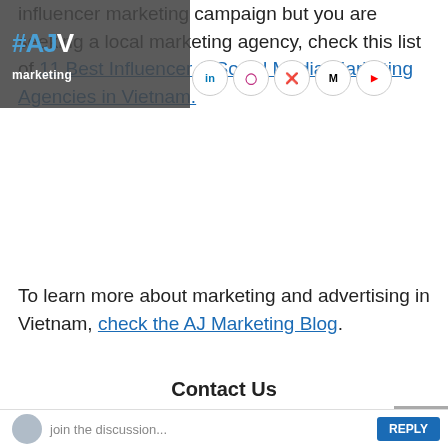# AJ marketing
influencer marketing campaign but you are seeking a local marketing agency, check this list of 11 Best Influencer & Social Media Marketing Agencies in Vietnam.
To learn more about marketing and advertising in Vietnam, check the AJ Marketing Blog.
Contact Us
AJ Marketing | Unlock the Power of Influence
Instagram | LinkedIn | Pinterest
info@ajmarketing.io